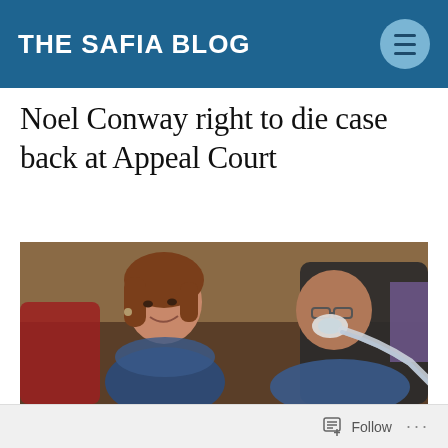THE SAFIA BLOG
Noel Conway right to die case back at Appeal Court
[Figure (photo): A woman and a man with a breathing mask/ventilator tube sitting in a chair, photographed indoors.]
Follow ...